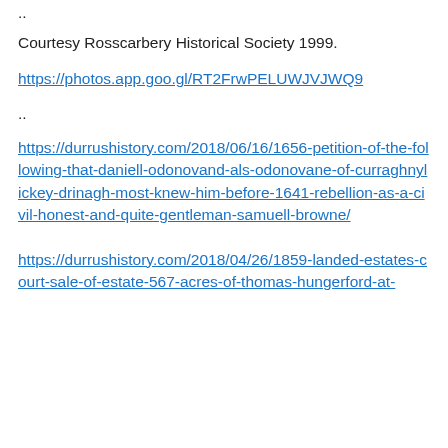..
Courtesy Rosscarbery Historical Society 1999.
https://photos.app.goo.gl/RT2FrwPELUWJVJWQ9
..
https://durrushistory.com/2018/06/16/1656-petition-of-the-following-that-daniell-odonovand-als-odonovane-of-curraghnylickey-drinagh-most-knew-him-before-1641-rebellion-as-a-civil-honest-and-quite-gentleman-samuell-browne/
https://durrushistory.com/2018/04/26/1859-landed-estates-court-sale-of-estate-567-acres-of-thomas-hungerford-at-